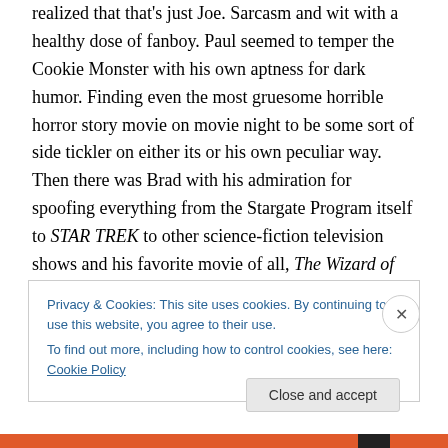realized that that's just Joe. Sarcasm and wit with a healthy dose of fanboy. Paul seemed to temper the Cookie Monster with his own aptness for dark humor. Finding even the most gruesome horrible horror story movie on movie night to be some sort of side tickler on either its or his own peculiar way. Then there was Brad with his admiration for spoofing everything from the Stargate Program itself to STAR TREK to other science-fiction television shows and his favorite movie of all, The Wizard of Oz. There never seemed to be a single report that came from him that didn't have some reference like 'Hail
Privacy & Cookies: This site uses cookies. By continuing to use this website, you agree to their use.
To find out more, including how to control cookies, see here: Cookie Policy
Close and accept